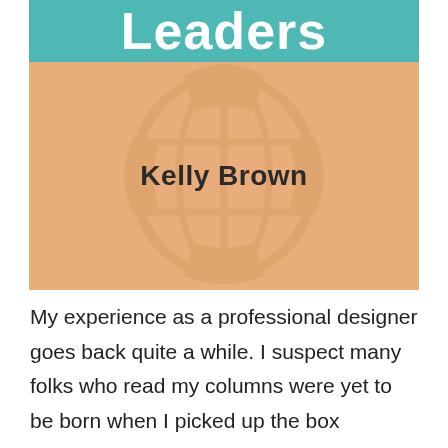[Figure (illustration): Book cover or profile card image. Top teal bar with large white bold text 'Leaders'. Below is a peach/tan colored block with a faint watermark globe/shield icon and bold text 'Kelly Brown' centered.]
My experience as a professional designer goes back quite a while. I suspect many folks who read my columns were yet to be born when I picked up the box containing Version 1.0 of PageMaker from my desk in Lakeland, Florida, leaving me to wonder what was